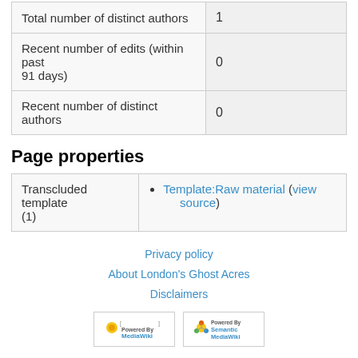|  |  |
| --- | --- |
| Total number of distinct authors | 1 |
| Recent number of edits (within past 91 days) | 0 |
| Recent number of distinct authors | 0 |
Page properties
|  |  |
| --- | --- |
| Transcluded template (1) | Template:Raw material (view source) |
Privacy policy | About London's Ghost Acres | Disclaimers